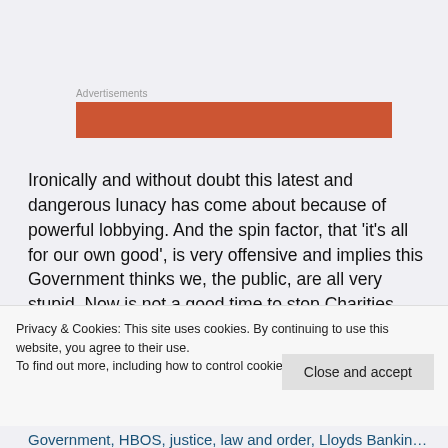[Figure (other): Orange/red advertisement banner placeholder below 'Advertisements' label]
Ironically and without doubt this latest and dangerous lunacy has come about because of powerful lobbying. And the spin factor, that 'it's all for our own good', is very offensive and implies this Government thinks we, the public, are all very stupid. Now is not a good time to stop Charities lobbying – it's time we all started lobbying our MPs to take power back from big business for our own well-being.
Privacy & Cookies: This site uses cookies. By continuing to use this website, you agree to their use.
To find out more, including how to control cookies, see here: Cookie Policy
Government, HBOS, justice, law and order, Lloyds Banking Group